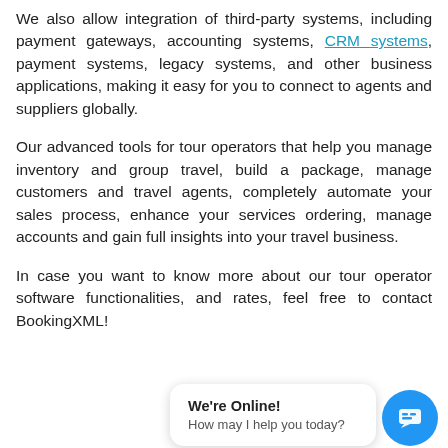We also allow integration of third-party systems, including payment gateways, accounting systems, CRM systems, payment systems, legacy systems, and other business applications, making it easy for you to connect to agents and suppliers globally.
Our advanced tools for tour operators that help you manage inventory and group travel, build a package, manage customers and travel agents, completely automate your sales process, enhance your services ordering, manage accounts and gain full insights into your travel business.
In case you want to know more about our tour operator software functionalities, and rates, feel free to contact BookingXML!
[Figure (other): Live chat widget showing 'We're Online! How may I help you today?' with a blue circular chat icon button.]